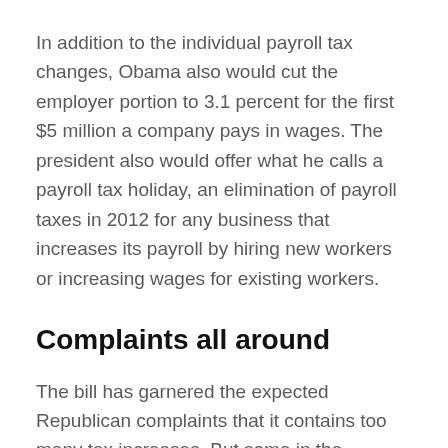In addition to the individual payroll tax changes, Obama also would cut the employer portion to 3.1 percent for the first $5 million a company pays in wages. The president also would offer what he calls a payroll tax holiday, an elimination of payroll taxes in 2012 for any business that increases its payroll by hiring new workers or increasing wages for existing workers.
Complaints all around
The bill has garnered the expected Republican complaints that it contains too many tax increases. But some in the president's own party are not happy either. They wanted him to use this